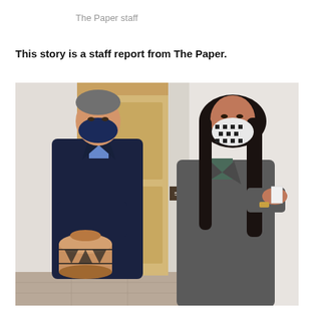The Paper staff
This story is a staff report from The Paper.
[Figure (photo): Two people wearing face masks stand in an interior hallway. The person on the left is a man in a dark navy suit holding a decorative Native American pottery vessel with geometric black-and-white designs. The person on the right is a woman with long dark hair wearing a gray blazer and a patterned face mask, appearing to gesture or speak. A wooden door frame and a small room number placard are visible in the background.]